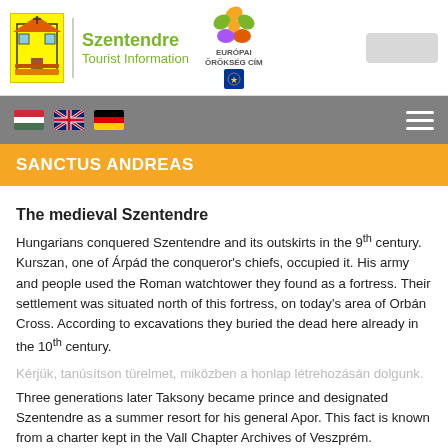Szentendre Tourist Information
[Figure (logo): Szentendre Tourist Information logo with building illustration and Európai Örökség Cím EU label with colorful flower icon]
SANCTUS ANDREAS
The medieval Szentendre
Hungarians conquered Szentendre and its outskirts in the 9th century. Kurszan, one of Árpád the conqueror's chiefs, occupied it. His army and people used the Roman watchtower they found as a fortress. Their settlement was situated north of this fortress, on today's area of Orbán Cross. According to excavations they buried the dead here already in the 10th century.
Three generations later Taksony became prince and designated Szentendre as a summer resort for his general Apor. This fact is known from a charter kept in the Vall Chapter Archives of Veszprém. According to this charter the state organizer king István donated a Visegrád county village to the episcopacy of Veszprém.